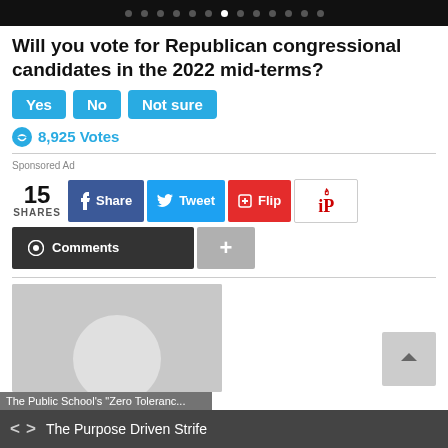Navigation dots header bar
Will you vote for Republican congressional candidates in the 2022 mid-terms?
Yes | No | Not sure
8,925 Votes
Sponsored Ad
15 SHARES | Share | Tweet | Flip
Comments | +
[Figure (photo): Thumbnail image placeholder with grey background and white circle]
< > The Purpose Driven Strife
The Public School's "Zero Toleranc...